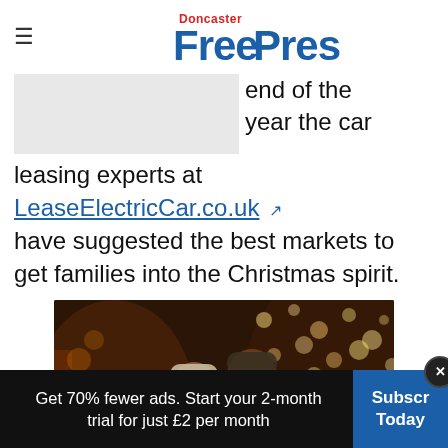Doncaster Free Press
end of the year the car leasing experts at LeaseElectricCar.co.uk have suggested the best markets to get families into the Christmas spirit.
[Figure (photo): A couple at a Christmas market at night, smiling at each other, wearing winter hats and scarves, with bokeh Christmas lights in the background.]
Get 70% fewer ads. Start your 2-month trial for just £2 per month  Subscribe Today